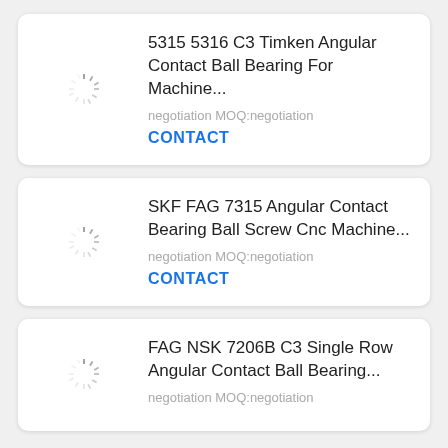[Figure (screenshot): Product listing card 1: loading spinner image placeholder on left, product title, MOQ info, and CONTACT button on right.]
5315 5316 C3 Timken Angular Contact Ball Bearing For Machine...
negotiation MOQ:negotiation
CONTACT
[Figure (screenshot): Product listing card 2: loading spinner image placeholder on left, product title, MOQ info, and CONTACT button on right.]
SKF FAG 7315 Angular Contact Bearing Ball Screw Cnc Machine...
negotiation MOQ:negotiation
CONTACT
[Figure (screenshot): Product listing card 3 (partial): loading spinner image placeholder on left, product title and MOQ info on right.]
FAG NSK 7206B C3 Single Row Angular Contact Ball Bearing...
negotiation MOQ:negotiation